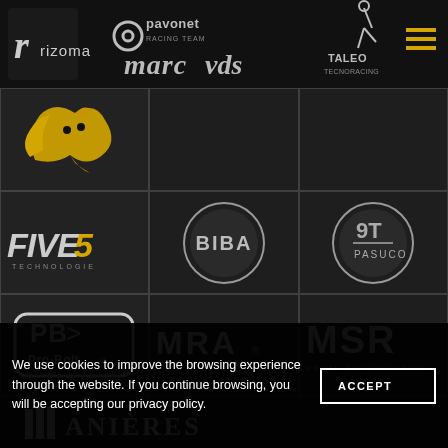[Figure (logo): Navigation bar with logos: Rizoma (r icon + text), Pavonet/Marc VDS racing team logo, Taleo Tecnoracing logo, hamburger menu icon in yellow]
[Figure (logo): Yellow cheetah/puma logo (brand mark, no text)]
[Figure (logo): FIVE gloves logo - stylized italic text]
[Figure (logo): BIBA circular logo with text in circle]
[Figure (logo): Pasuco circular logo]
[Figure (logo): Pro-Bolt PB logo in rounded rectangle]
[Figure (logo): MRA Motorcycle Windshields logo]
[Figure (logo): MSR Prime Switzerland logo]
[Figure (logo): Anieres logo with gothic/medieval style text and icon]
We use cookies to improve the browsing experience through the website. If you continue browsing, you will be accepting our privacy policy.
ACCEPT